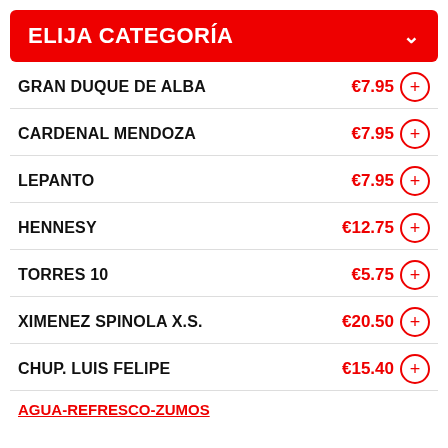ELIJA CATEGORÍA
GRAN DUQUE DE ALBA €7.95
CARDENAL MENDOZA €7.95
LEPANTO €7.95
HENNESY €12.75
TORRES 10 €5.75
XIMENEZ SPINOLA X.S. €20.50
CHUP. LUIS FELIPE €15.40
AGUA-REFRESCO-ZUMOS